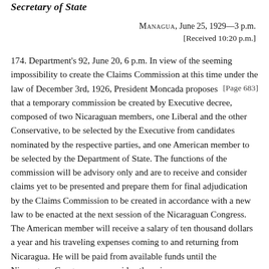Secretary of State
Managua, June 25, 1929—3 p.m.
[Received 10:20 p.m.]
174. Department's 92, June 20, 6 p.m. In view of the seeming impossibility to create the Claims Commission at this time under the law of December 3rd, 1926, President Moncada [Page 683] proposes that a temporary commission be created by Executive decree, composed of two Nicaraguan members, one Liberal and the other Conservative, to be selected by the Executive from candidates nominated by the respective parties, and one American member to be selected by the Department of State. The functions of the commission will be advisory only and are to receive and consider claims yet to be presented and prepare them for final adjudication by the Claims Commission to be created in accordance with a new law to be enacted at the next session of the Nicaraguan Congress. The American member will receive a salary of ten thousand dollars a year and his traveling expenses coming to and returning from Nicaragua. He will be paid from available funds until the Nicaraguan Congress can provide otherwise.